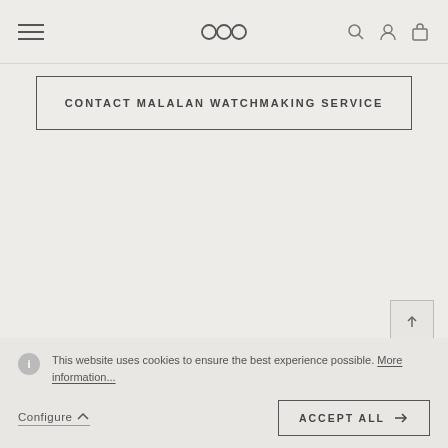Malalan Watchmaking Service navigation bar with hamburger menu, logo, search, account, and bag icons
CONTACT MALALAN WATCHMAKING SERVICE
This website uses cookies to ensure the best experience possible. More information...
Configure
ACCEPT ALL